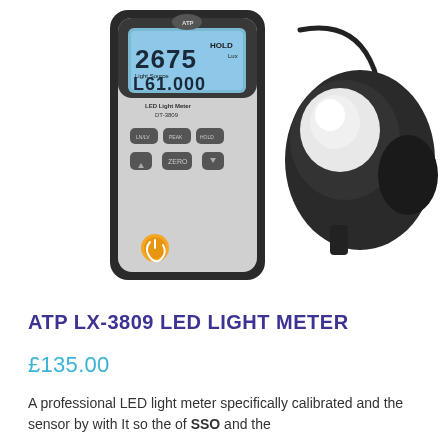[Figure (photo): ATP LX-3809 LED Light Meter product photo showing a handheld meter device with LCD display showing 2675 Lux and L61.000, connected by a coiled cable to a separate light sensor/probe with a white dome, both in dark grey/black casing]
ATP LX-3809 LED LIGHT METER
£135.00
A professional LED light meter specifically calibrated and the sensor by with It so the of SSD and the